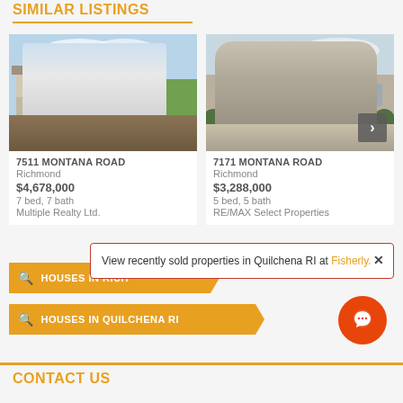SIMILAR LISTINGS
[Figure (photo): Photo of modern house with patio furniture and landscaped garden]
7511 MONTANA ROAD
Richmond
$4,678,000
7 bed, 7 bath
Multiple Realty Ltd.
[Figure (photo): Photo of large stone mansion with double garage and circular driveway]
7171 MONTANA ROAD
Richmond
$3,288,000
5 bed, 5 bath
RE/MAX Select Properties
HOUSES IN RICH
HOUSES IN QUILCHENA RI
View recently sold properties in Quilchena RI at Fisherly.
CONTACT US